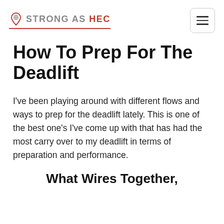STRONG AS HEC
How To Prep For The Deadlift
I've been playing around with different flows and ways to prep for the deadlift lately. This is one of the best one's I've come up with that has had the most carry over to my deadlift in terms of preparation and performance.
What Wires Together,